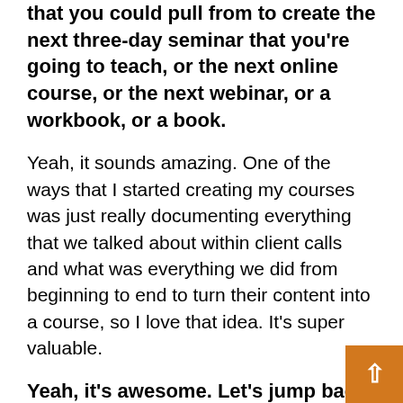that you could pull from to create the next three-day seminar that you're going to teach, or the next online course, or the next webinar, or a workbook, or a book.
Yeah, it sounds amazing. One of the ways that I started creating my courses was just really documenting everything that we talked about within client calls and what was everything we did from beginning to end to turn their content into a course, so I love that idea. It's super valuable.
Yeah, it's awesome. Let's jump back to this idea of when you have a Software as a Se... away have clients that your service-based...